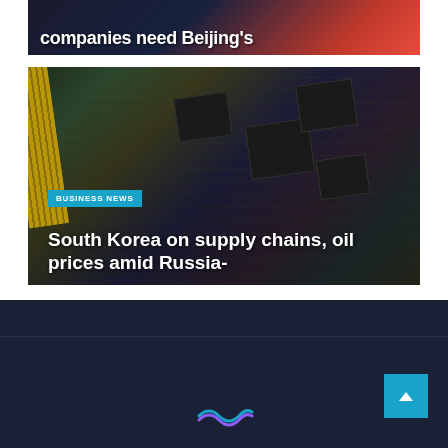[Figure (photo): Partial view of a news article image showing circuit/technology background with white bold headline text reading 'companies need Beijing's']
[Figure (photo): Close-up photo of a circuit board/RAM stick with black memory chips on green PCB, used as background for a business news article]
BUSINESS NEWS
South Korea on supply chains, oil prices amid Russia-
Footer area with dark navy background containing a logo and scroll-to-top button